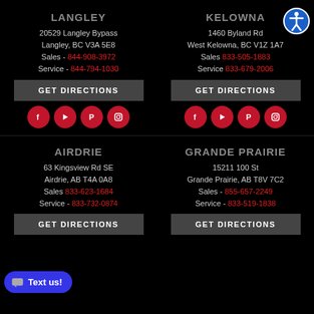LANGLEY
20529 Langley Bypass
Langley, BC V3A 5E8
Sales - 844-908-3972
Service - 844-794-1030
GET DIRECTIONS
KELOWNA
1460 Byland Rd
West Kelowna, BC V1Z 1A7
Sales 833-505-1883
Service 833-679-2006
GET DIRECTIONS
AIRDRIE
63 Kingsview Rd SE
Airdrie, AB T4A 0A8
Sales 833-623-1684
Service - 833-732-0874
GET DIRECTIONS
GRANDE PRAIRIE
15211 100 St
Grande Prairie, AB T8V 7C2
Sales - 855-657-2249
Service - 833-519-1838
GET DIRECTIONS